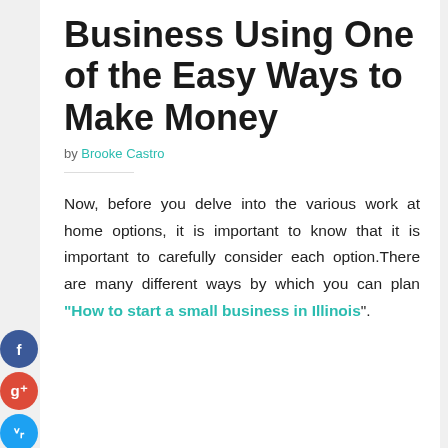Business Using One of the Easy Ways to Make Money
by Brooke Castro
Now, before you delve into the various work at home options, it is important to know that it is important to carefully consider each option.There are many different ways by which you can plan “How to start a small business in Illinois”.